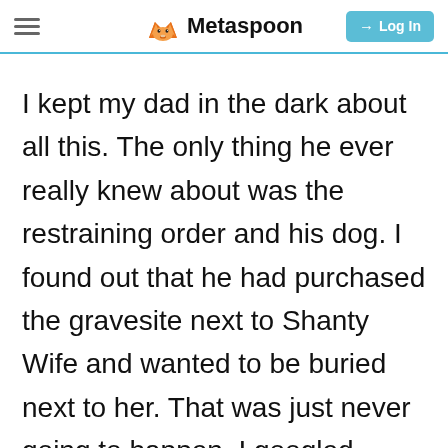Metaspoon | Log In
I kept my dad in the dark about all this. The only thing he ever really knew about was the restraining order and his dog. I found out that he had purchased the gravesite next to Shanty Wife and wanted to be buried next to her. That was just never going to happen. I googled national cemeteries and found out he qualified